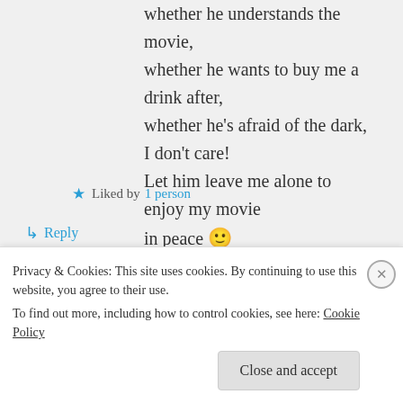whether he understands the movie, whether he wants to buy me a drink after, whether he's afraid of the dark, I don't care! Let him leave me alone to enjoy my movie in peace 🙂
★ Liked by 1 person
↳ Reply
Tony Michele on February 23, 2014 at 6:30 pm
Privacy & Cookies: This site uses cookies. By continuing to use this website, you agree to their use.
To find out more, including how to control cookies, see here: Cookie Policy
Close and accept